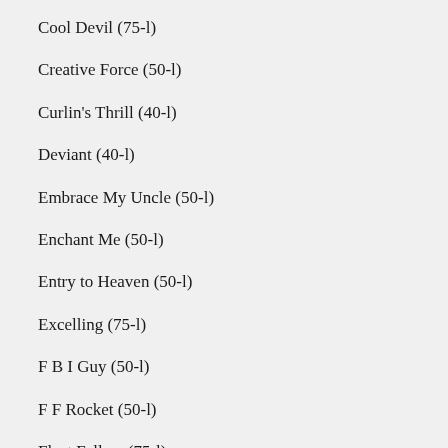Cool Devil (75-l)
Creative Force (50-l)
Curlin's Thrill (40-l)
Deviant (40-l)
Embrace My Uncle (50-l)
Enchant Me (50-l)
Entry to Heaven (50-l)
Excelling (75-l)
F B I Guy (50-l)
F F Rocket (50-l)
Fleet Fellow (75-l)